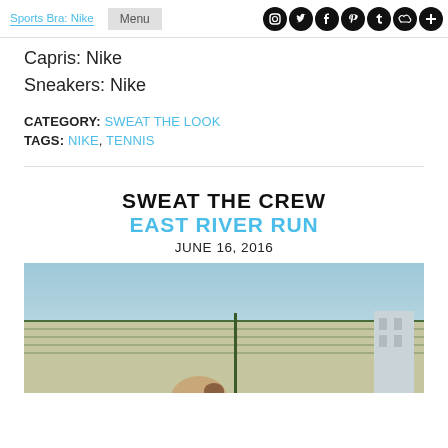Sports Bra: Nike | Menu
Capris: Nike
Sneakers: Nike
CATEGORY: SWEAT THE LOOK
TAGS: NIKE, TENNIS
SWEAT THE CREW
EAST RIVER RUN
JUNE 16, 2016
[Figure (photo): Outdoor photo showing a chain-link fence with blue sky and city building in background, person with ponytail visible at bottom]